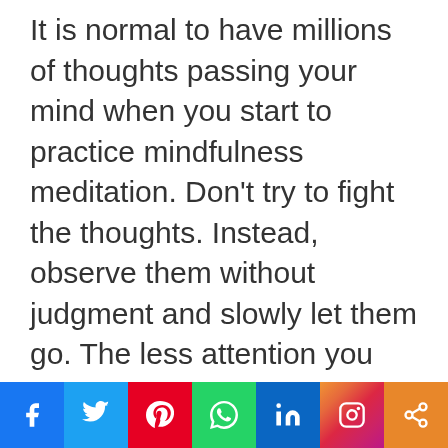It is normal to have millions of thoughts passing your mind when you start to practice mindfulness meditation. Don't try to fight the thoughts. Instead, observe them without judgment and slowly let them go. The less attention you give them, the more they will fade away.
[Figure (other): Social media sharing bar with icons for Facebook, Twitter, Pinterest, WhatsApp, LinkedIn, Instagram, and Share]